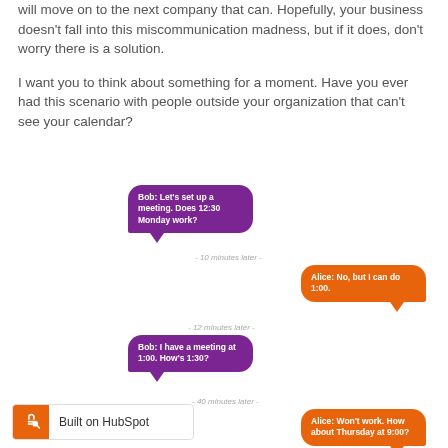will move on to the next company that can. Hopefully, your business doesn't fall into this miscommunication madness, but if it does, don't worry there is a solution.
I want you to think about something for a moment. Have you ever had this scenario with people outside your organization that can't see your calendar?
[Figure (illustration): Chat conversation bubbles between Bob and Alice scheduling a meeting. Bob: Let's set up a meeting. Does 12:30 Monday work? (- 10 minutes later -) Alice: No, but I can do 1:00. (- 12 minutes later -) Bob: I have a meeting at 1:00. How's 1:30? (- 40 minutes later -) Alice: Won't work. How about Thursday at 9:00?]
Built on HubSpot